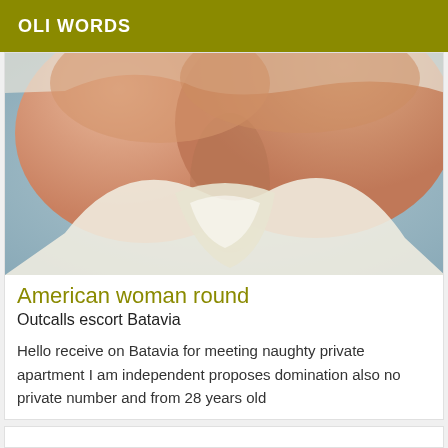OLI WORDS
[Figure (photo): Close-up photo of a woman's chest in a white top]
American woman round
Outcalls escort Batavia
Hello receive on Batavia for meeting naughty private apartment I am independent proposes domination also no private number and from 28 years old